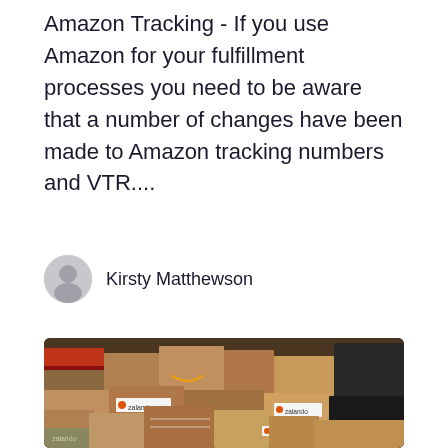Amazon Tracking - If you use Amazon for your fulfillment processes you need to be aware that a number of changes have been made to Amazon tracking numbers and VTR....
Kirsty Matthewson
[Figure (photo): Photo of a large pile of cardboard shipping boxes including Amazon and Zalando branded packages stacked in what appears to be a delivery vehicle]